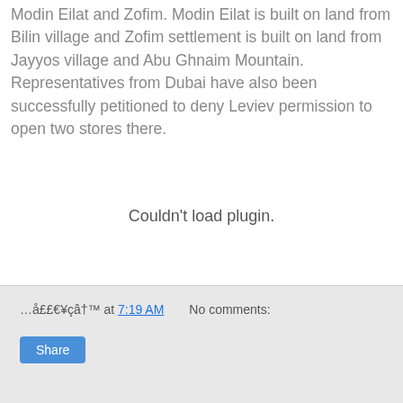Modin Eilat and Zofim. Modin Eilat is built on land from Bilin village and Zofim settlement is built on land from Jayyos village and Abu Ghnaim Mountain. Representatives from Dubai have also been successfully petitioned to deny Leviev permission to open two stores there.
Couldn't load plugin.
…å££€¥çâ†™ at 7:19 AM   No comments: